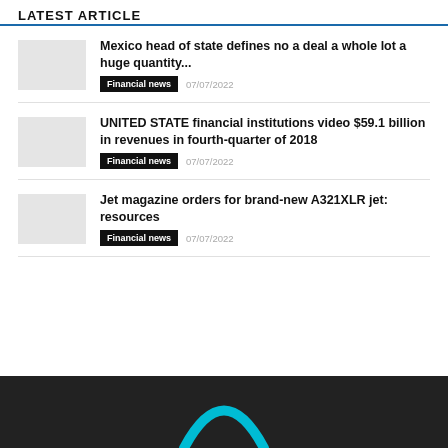LATEST ARTICLE
Mexico head of state defines no a deal a whole lot a huge quantity...
Financial news  07/07/2022
UNITED STATE financial institutions video $59.1 billion in revenues in fourth-quarter of 2018
Financial news  07/07/2022
Jet magazine orders for brand-new A321XLR jet: resources
Financial news  07/07/2022
[Figure (logo): Partial arc/logo shape in cyan/teal at bottom of dark footer]